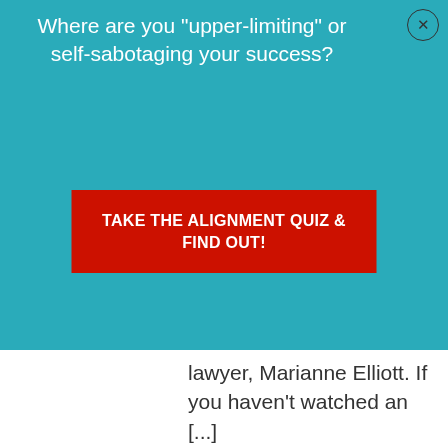Where are you "upper-limiting" or self-sabotaging your success?
TAKE THE ALIGNMENT QUIZ & FIND OUT!
lawyer, Marianne Elliott. If you haven't watched an [...]
[Figure (logo): Decorative geometric tile avatar pattern in orange/gold colors]
Angela Meijer -
January 23, 2012
Reply